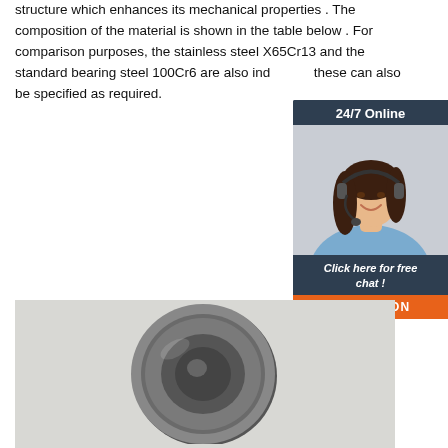structure which enhances its mechanical properties . The composition of the material is shown in the table below . For comparison purposes, the stainless steel X65Cr13 and the standard bearing steel 100Cr6 are also indicated, these can also be specified as required.
[Figure (other): 24/7 Online customer support widget with photo of a woman wearing a headset, dark navy background, orange QUOTATION button, text 'Click here for free chat!']
Get Price
[Figure (photo): Photograph of a stainless steel ball bearing (deep groove ball bearing with metal shield) viewed from the front, on a light grey background.]